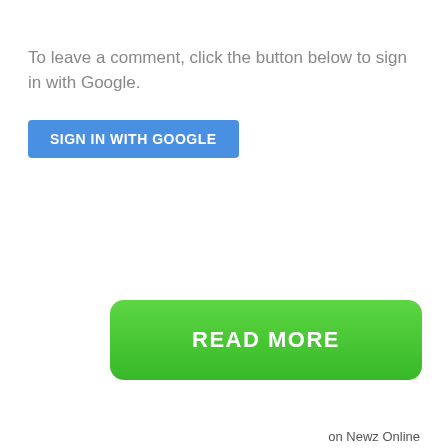To leave a comment, click the button below to sign in with Google.
[Figure (other): Blue 'SIGN IN WITH GOOGLE' button]
[Figure (other): Green 'READ MORE' button with rounded corners]
on Newz Online